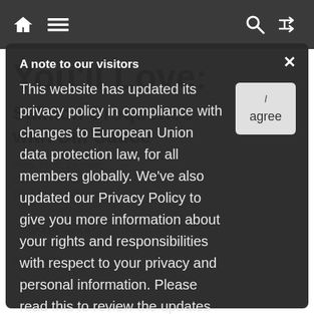Navigation bar with home, menu, search, and shuffle icons
You'll Love:
Salmon Croquettes with Dill Sauce
Prep Time: 20 mins · Cook Time: 10 mins · Total Time: 30 mins
A note to our visitors
This website has updated its privacy policy in compliance with changes to European Union data protection law, for all members globally. We've also updated our Privacy Policy to give you more information about your rights and responsibilities with respect to your privacy and personal information. Please read this to review the updates about which cookies we use and what information we collect on our site. By continuing to use this site, you are agreeing to our updated privacy policy.
or crackers.